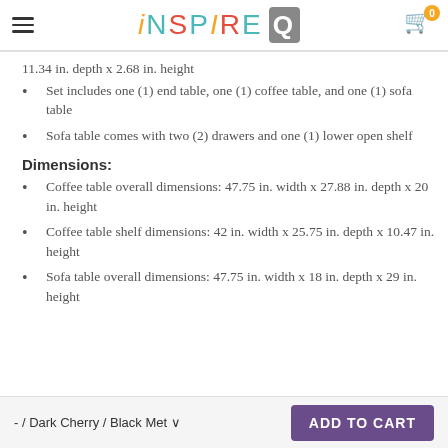iNSPIRE Q (logo) | Cart: 0
11.34 in. depth x 2.68 in. height
Set includes one (1) end table, one (1) coffee table, and one (1) sofa table
Sofa table comes with two (2) drawers and one (1) lower open shelf
Dimensions:
Coffee table overall dimensions: 47.75 in. width x 27.88 in. depth x 20 in. height
Coffee table shelf dimensions: 42 in. width x 25.75 in. depth x 10.47 in. height
Sofa table overall dimensions: 47.75 in. width x 18 in. depth x 29 in. height
- / Dark Cherry / Black Met
ADD TO CART